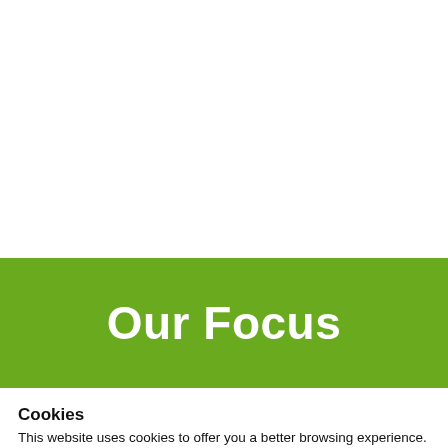Our Focus
Cookies
This website uses cookies to offer you a better browsing experience. Find out more here.
Got it!
Show details